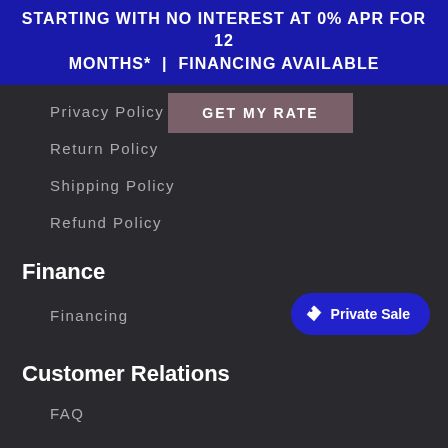STARTING WITH NO INTEREST AT 0% APR FOR 12 MONTHS* | FINANCING AVAILABLE
Privacy Policy
GET MY RATE
Return Policy
Shipping Policy
Refund Policy
Finance
Financing
Private Sale
Customer Relations
FAQ